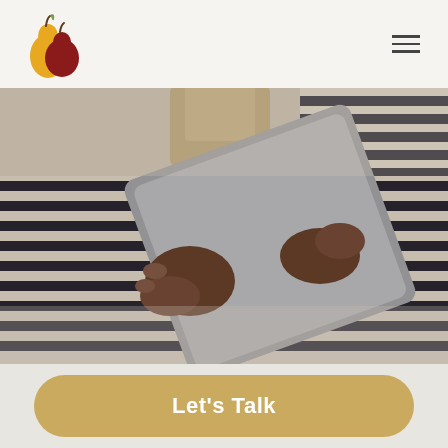[Figure (logo): Pear and apple logo icon — a yellow pear shape and a dark red apple shape overlapping]
[Figure (other): Hamburger menu icon with three horizontal lines]
[Figure (photo): Close-up photo of a person wearing a black and white striped shirt holding a tablet/iPad, blurred background]
Let's Talk